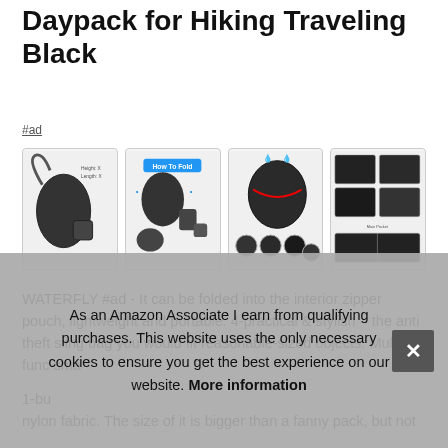Daypack for Hiking Traveling Black
#ad
[Figure (photo): Four product photos of a black sling bag/daypack: side view with dimensions, folding instructions, features diagram, and interior compartment views]
WATERFLY #ad - It can be folded into the interior zipper pouch, lightweight and portable. 4-practical & stylish – the anti theft sling bag you would fit reasonable-sized objects. Multi-func... sma...
1-bu... nylon fabric. The size of it is bigger than a fanny pack, but not
As an Amazon Associate I earn from qualifying purchases. This website uses the only necessary cookies to ensure you get the best experience on our website. More information